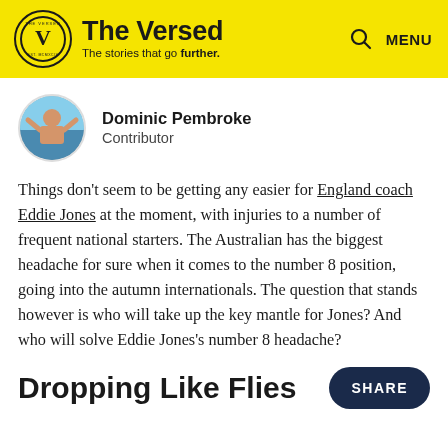The Versed — The stories that go further.
[Figure (logo): The Versed logo with circular V emblem and tagline 'The stories that go further.' on yellow background]
Dominic Pembroke
Contributor
Things don't seem to be getting any easier for England coach Eddie Jones at the moment, with injuries to a number of frequent national starters. The Australian has the biggest headache for sure when it comes to the number 8 position, going into the autumn internationals. The question that stands however is who will take up the key mantle for Jones? And who will solve Eddie Jones's number 8 headache?
Dropping Like Flies